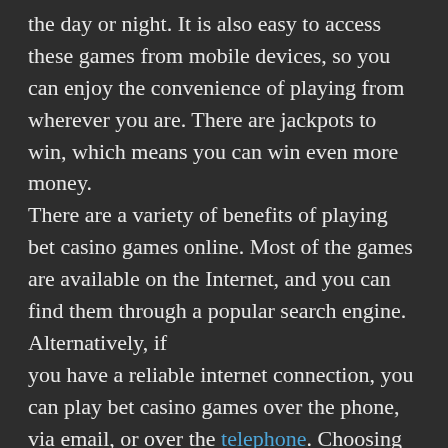the day or night. It is also easy to access these games from mobile devices, so you can enjoy the convenience of playing from wherever you are. There are jackpots to win, which means you can win even more money. There are a variety of benefits of playing bet casino games online. Most of the games are available on the Internet, and you can find them through a popular search engine. Alternatively, if you have a reliable internet connection, you can play bet casino games over the phone, via email, or over the telephone. Choosing to play your favorite casino game from the comfort of your own home is a great option. Online casinos have various advantages, including the ability to play whenever you want.